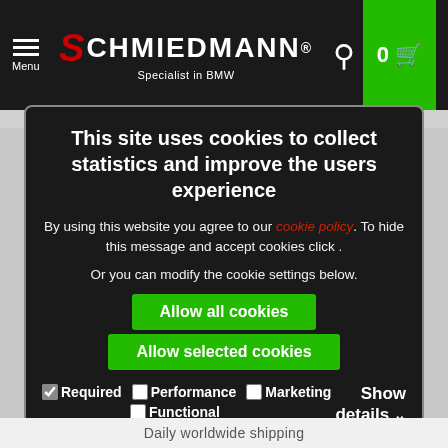[Figure (screenshot): Schmiedmann website header with logo, menu icon, search icon, and green cart button showing 0 items]
This site uses cookies to collect statistics and improve the users experience
By using this website you agree to our cookie policy. To hide this message and accept cookies click .
Or you can modify the cookie settings below.
Allow all cookies
Allow selected cookies
Required  Performance  Marketing  Functional  Show details
Daily worldwide shipping